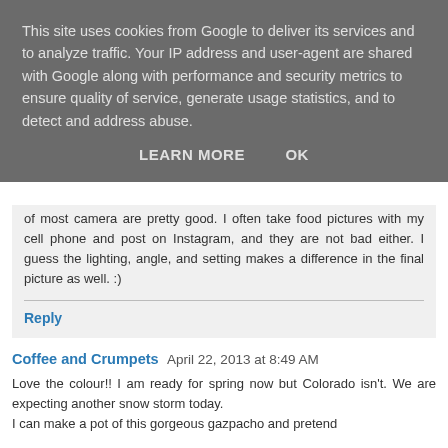This site uses cookies from Google to deliver its services and to analyze traffic. Your IP address and user-agent are shared with Google along with performance and security metrics to ensure quality of service, generate usage statistics, and to detect and address abuse.
LEARN MORE   OK
of most camera are pretty good. I often take food pictures with my cell phone and post on Instagram, and they are not bad either. I guess the lighting, angle, and setting makes a difference in the final picture as well. :)
Reply
Coffee and Crumpets April 22, 2013 at 8:49 AM
Love the colour!! I am ready for spring now but Colorado isn't. We are expecting another snow storm today. I can make a pot of this gorgeous gazpacho and pretend